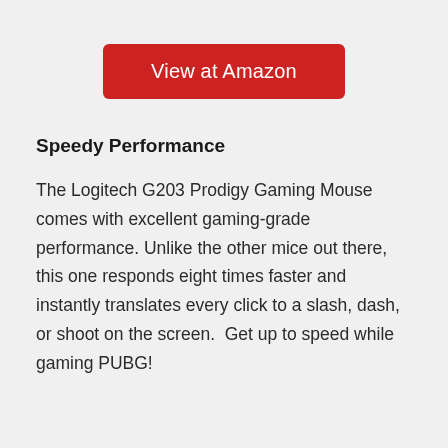[Figure (other): Red button with white text reading 'View at Amazon']
Speedy Performance
The Logitech G203 Prodigy Gaming Mouse comes with excellent gaming-grade performance. Unlike the other mice out there, this one responds eight times faster and instantly translates every click to a slash, dash, or shoot on the screen.  Get up to speed while gaming PUBG!